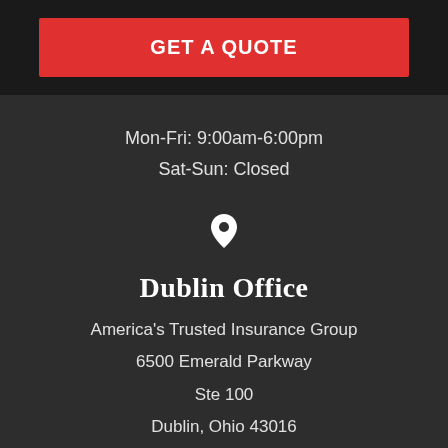GET A QUOTE
Mon-Fri: 9:00am-6:00pm
Sat-Sun: Closed
[Figure (illustration): Location pin/map marker icon]
Dublin Office
America's Trusted Insurance Group
6500 Emerald Parkway
Ste 100
Dublin, Ohio 43016